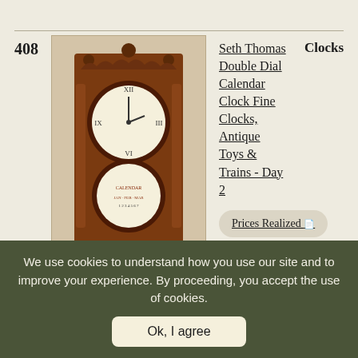408
[Figure (photo): Seth Thomas Double Dial Calendar Clock — antique walnut tall wall clock with ornate carved crown and two circular dials: upper time dial with Roman numerals and lower calendar dial]
Seth Thomas Double Dial Calendar Clock Fine Clocks, Antique Toys & Trains - Day 2
Clocks
Prices Realized
425
[Figure (photo): Partial view of another Seth Thomas clock top portion]
Seth Thomas
Clocks
We use cookies to understand how you use our site and to improve your experience. By proceeding, you accept the use of cookies.
Ok, I agree